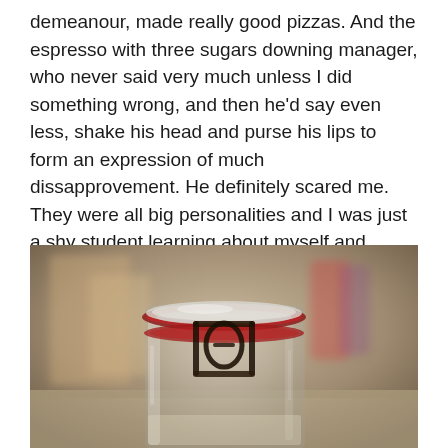demeanour, made really good pizzas. And the espresso with three sugars downing manager, who never said very much unless I did something wrong, and then he'd say even less, shake his head and purse his lips to form an expression of much dissapprovement. He definitely scared me. They were all big personalities and I was just a shy student learning about myself and experiencing life freely for the first time.
[Figure (photo): Close-up photograph of the top of a glass jar with a metal wire bail latch/clip closure and rubber seal ring, set against a blurred background with warm brown and beige tones.]